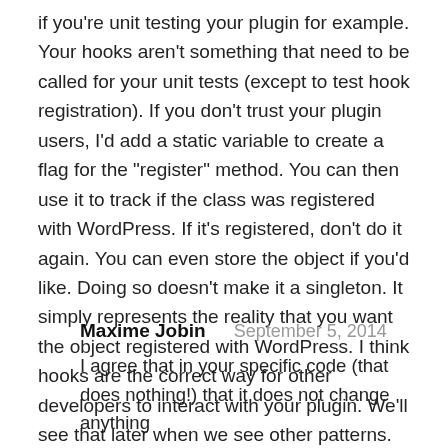if you're unit testing your plugin for example. Your hooks aren't something that need to be called for your unit tests (except to test hook registration). If you don't trust your plugin users, I'd add a static variable to create a flag for the "register" method. You can then use it to track if the class was registered with WordPress. If it's registered, don't do it again. You can even store the object if you'd like. Doing so doesn't make it a singleton. It simply represents the reality that you want the object registered with WordPress. I think hooks are the correct way for other developers to interact with your plugin. We'll see that later when we see other patterns.
Maxime Jobin   September 5, 2014
I agree that in your specific code (that does nothing!) that it does not change anything